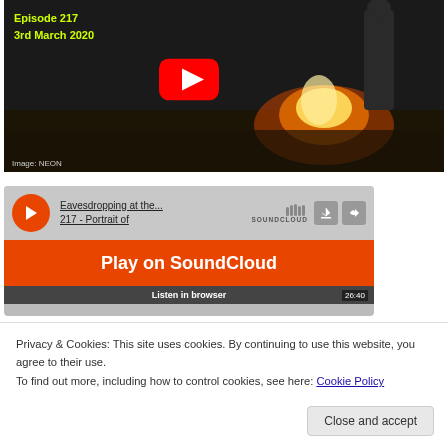[Figure (screenshot): YouTube video thumbnail showing Episode 217, 3rd March 2020 with a dark scene featuring fire and a person, with yellow-green text overlay and YouTube play button. Image credit: NEON.]
[Figure (screenshot): SoundCloud embedded player widget showing 'Eavesdropping at the... 217 - Portrait of...' track with an orange Play on SoundCloud overlay button, SoundCloud logo, and Listen in browser bar at bottom with time 26:40.]
Privacy & Cookies: This site uses cookies. By continuing to use this website, you agree to their use.
To find out more, including how to control cookies, see here: Cookie Policy